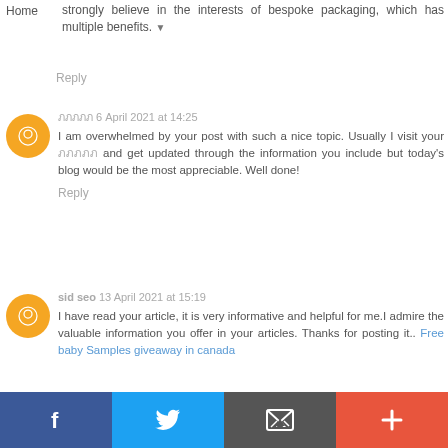strongly believe in the interests of bespoke packaging, which has multiple benefits. ▼
Reply
ภภภภภ 6 April 2021 at 14:25
I am overwhelmed by your post with such a nice topic. Usually I visit your ภภภภภ and get updated through the information you include but today's blog would be the most appreciable. Well done!
Reply
sid seo 13 April 2021 at 15:19
I have read your article, it is very informative and helpful for me.I admire the valuable information you offer in your articles. Thanks for posting it.. Free baby Samples giveaway in canada
[Figure (infographic): Social media sharing bar with four buttons: Facebook (blue), Twitter (light blue), Email/envelope (dark gray), and a plus button (orange-red)]